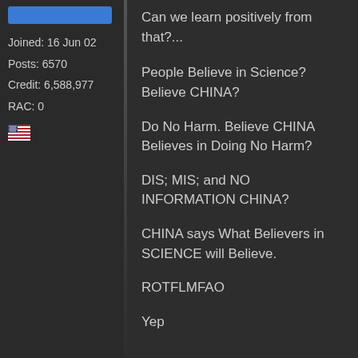Joined: 16 Jun 02
Posts: 6570
Credit: 6,588,977
RAC: 0
[Figure (other): US flag emoji icon]
Can we learn positively from that?...
People Believe in Science? Believe CHINA?
Do No Harm. Believe CHINA Believes in Doing No Harm?
DIS; MIS; and NO INFORMATION CHINA?
CHINA says What Believers in SCIENCE will Believe.
ROTFLMFAO
Yep